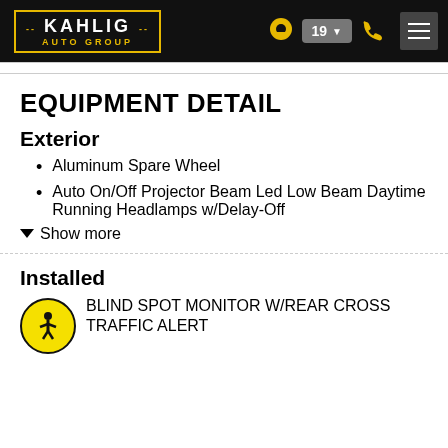Kahlig Auto Group — navigation header with location pin, 19 dropdown, phone icon, hamburger menu
EQUIPMENT DETAIL
Exterior
Aluminum Spare Wheel
Auto On/Off Projector Beam Led Low Beam Daytime Running Headlamps w/Delay-Off
▼ Show more
Installed
BLIND SPOT MONITOR W/REAR CROSS TRAFFIC ALERT